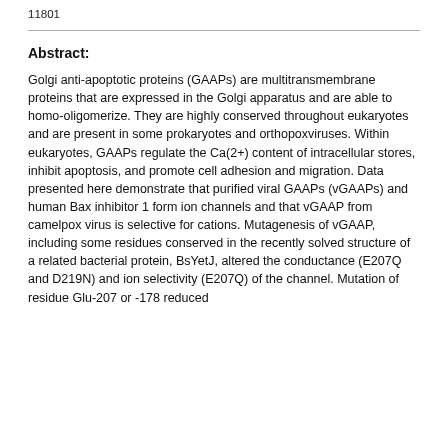11801
Abstract:
Golgi anti-apoptotic proteins (GAAPs) are multitransmembrane proteins that are expressed in the Golgi apparatus and are able to homo-oligomerize. They are highly conserved throughout eukaryotes and are present in some prokaryotes and orthopoxviruses. Within eukaryotes, GAAPs regulate the Ca(2+) content of intracellular stores, inhibit apoptosis, and promote cell adhesion and migration. Data presented here demonstrate that purified viral GAAPs (vGAAPs) and human Bax inhibitor 1 form ion channels and that vGAAP from camelpox virus is selective for cations. Mutagenesis of vGAAP, including some residues conserved in the recently solved structure of a related bacterial protein, BsYetJ, altered the conductance (E207Q and D219N) and ion selectivity (E207Q) of the channel. Mutation of residue Glu-207 or -178 reduced